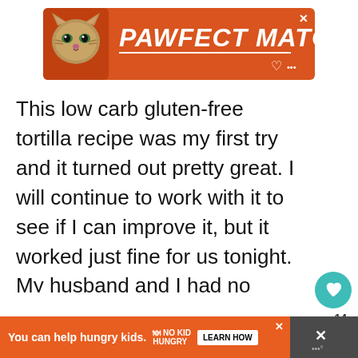[Figure (infographic): Advertisement banner for 'PAWFECT MATCH' with a cat photo on orange background, close button, heart and dots icons]
This low carb gluten-free tortilla recipe was my first try and it turned out pretty great. I will continue to work with it to see if I can improve it, but it worked just fine for us tonight. My husband and I had no problems with these gluten-free tortillas but my kids squeezed the soft tacos too hard and broke their tortillas. They break their corn tortillas, too, so I didn't
[Figure (infographic): Bottom advertisement banner: 'You can help hungry kids. No Kid Hungry. LEARN HOW' on orange background with close button]